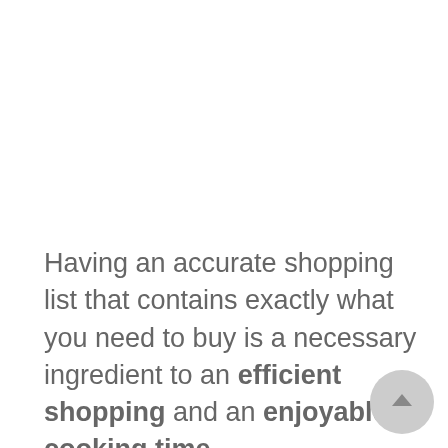Having an accurate shopping list that contains exactly what you need to buy is a necessary ingredient to an efficient shopping and an enjoyable cooking time.
When you create shopping lists by adding ingredients from recipes, you are bound to